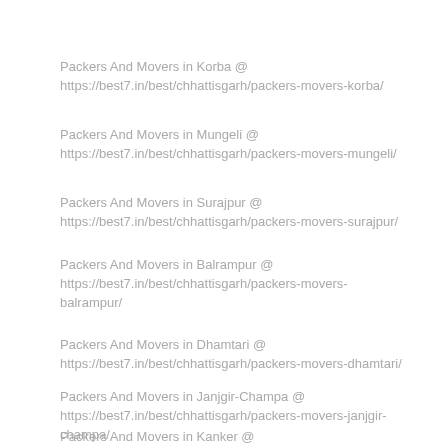Packers And Movers in Korba @ https://best7.in/best/chhattisgarh/packers-movers-korba/
Packers And Movers in Mungeli @ https://best7.in/best/chhattisgarh/packers-movers-mungeli/
Packers And Movers in Surajpur @ https://best7.in/best/chhattisgarh/packers-movers-surajpur/
Packers And Movers in Balrampur @ https://best7.in/best/chhattisgarh/packers-movers-balrampur/
Packers And Movers in Dhamtari @ https://best7.in/best/chhattisgarh/packers-movers-dhamtari/
Packers And Movers in Janjgir-Champa @ https://best7.in/best/chhattisgarh/packers-movers-janjgir-champa/
Packers And Movers in Kanker @